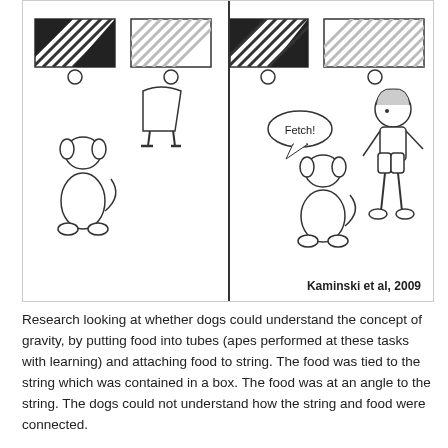[Figure (illustration): Scientific illustration showing two panels side by side. Left panel: a dog sitting in front of two striped rectangular boxes (with circles below them) and a figure of a person (legs only visible). Right panel: similar setup with striped boxes, a dog, and a full child figure saying 'Fetch!' in a speech bubble. Citation: Kaminski et al, 2009.]
Research looking at whether dogs could understand the concept of gravity, by putting food into tubes (apes performed at these tasks with learning) and attaching food to string. The food was tied to the string which was contained in a box. The food was at an angle to the string. The dogs could not understand how the string and food were connected.
When dogs look in the mirror, they do not understand that the reflection is them. Results show, that dogs were not very good at solving these kinds of problems by themselves. There are ongoing human comparisons to dogs.